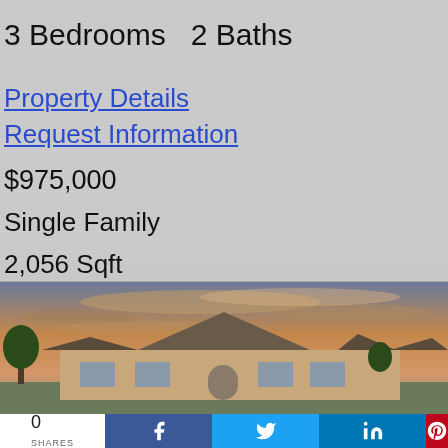3 Bedrooms   2 Baths
Property Details
Request Information
$975,000
Single Family
2,056 Sqft
[Figure (photo): Exterior photo of a single family home at sunset/dusk with a dramatic cloudy sky, showing a large ranch-style house with multiple roof peaks and trees]
0
SHARES